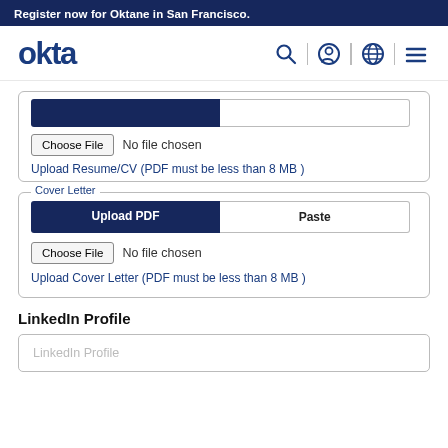Register now for Oktane in San Francisco.
[Figure (logo): Okta logo with navigation icons (search, profile, globe, menu)]
[Figure (screenshot): Partial resume upload section with Upload PDF and Paste tabs, Choose File input, and 'Upload Resume/CV (PDF must be less than 8 MB)' link]
[Figure (screenshot): Cover Letter upload section with Upload PDF and Paste tabs, Choose File input, and 'Upload Cover Letter (PDF must be less than 8 MB)' link]
LinkedIn Profile
LinkedIn Profile